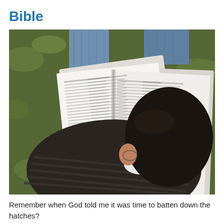Bible
[Figure (photo): Overhead view of a person sitting on grass, holding open a large Bible with two columns of text, reading it. The person is wearing a dark striped sweater and has dark hair.]
Remember when God told me it was time to batten down the hatches?